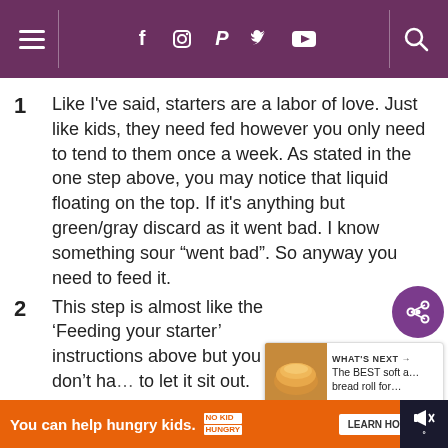Navigation bar with menu, social icons (Facebook, Instagram, Pinterest, Twitter, YouTube), and search
Like I've said, starters are a labor of love. Just like kids, they need fed however you only need to tend to them once a week. As stated in the one step above, you may notice that liquid floating on the top. If it's anything but green/gray discard as it went bad. I know something sour “went bad”. So anyway you need to feed it.
This step is almost like the ‘Feeding your starter’ instructions above but you don’t ha… to let it sit out.
Stir in the liquid and then pour all … starter into a glass bowl.
Keep stirring until it’s pancake batter smooth…
Ad: You can help hungry kids. NO KID HUNGRY. LEARN HOW